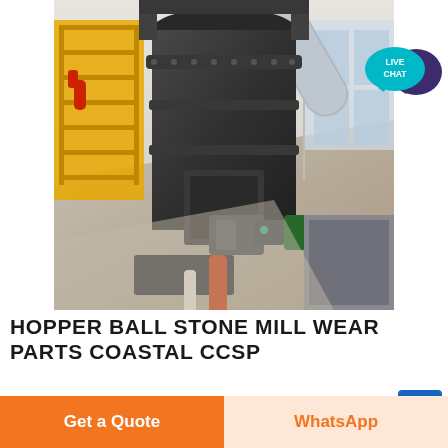[Figure (photo): Industrial ball mill / stone grinding machine photographed from above, showing large cylindrical dark metal body with flanges and bolts, attached machinery and hydraulic components at base, yellow safety gate structure at left, ventilation duct at upper right, bright industrial interior with windows]
[Figure (infographic): LIVE CHAT badge: teal speech bubble with 'LIVE CHAT' text in white, overlapping dark purple speech bubble icon, positioned top-right corner]
HOPPER BALL STONE MILL WEAR PARTS COASTAL CCSP
Jun 13 2017 grinding mill powder making machine
[Figure (infographic): Blue square button with white arrow pointing upper-right (external link icon)]
Get a Quote
WhatsApp